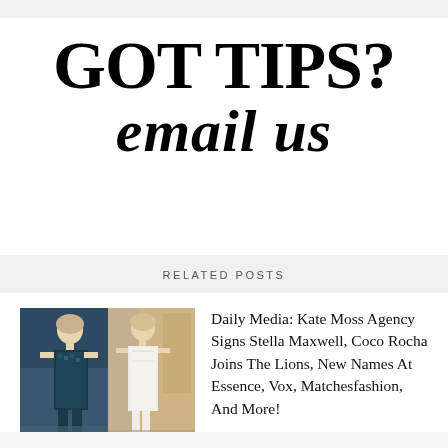GOT TIPS?
email us
RELATED POSTS
[Figure (photo): Two fashion models side by side: left model in dark teal sequin dress, right model in white dress in a room setting]
Daily Media: Kate Moss Agency Signs Stella Maxwell, Coco Rocha Joins The Lions, New Names At Essence, Vox, Matchesfashion, And More!